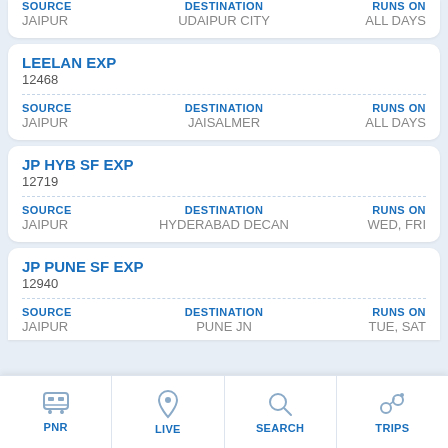| SOURCE | DESTINATION | RUNS ON |
| --- | --- | --- |
| JAIPUR | UDAIPUR CITY | ALL DAYS |
LEELAN EXP
12468
| SOURCE | DESTINATION | RUNS ON |
| --- | --- | --- |
| JAIPUR | JAISALMER | ALL DAYS |
JP HYB SF EXP
12719
| SOURCE | DESTINATION | RUNS ON |
| --- | --- | --- |
| JAIPUR | HYDERABAD DECAN | WED, FRI |
JP PUNE SF EXP
12940
| SOURCE | DESTINATION | RUNS ON |
| --- | --- | --- |
| JAIPUR | PUNE JN | TUE, SAT |
PNR | LIVE | SEARCH | TRIPS